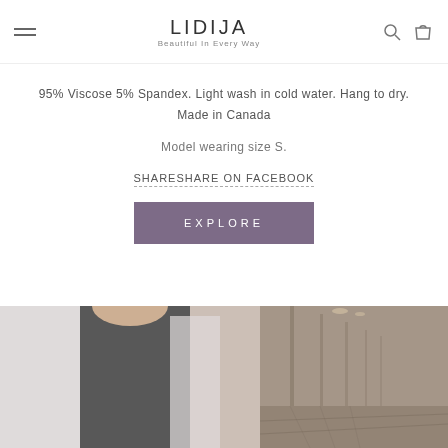LIDIJA Beautiful In Every Way
95% Viscose 5% Spandex. Light wash in cold water. Hang to dry. Made in Canada
Model wearing size S.
SHARESHARE ON FACEBOOK
EXPLORE
[Figure (photo): A model wearing a black top and white/lavender open cardigan, standing in a hallway with receding corridor perspective and warm neutral tones]